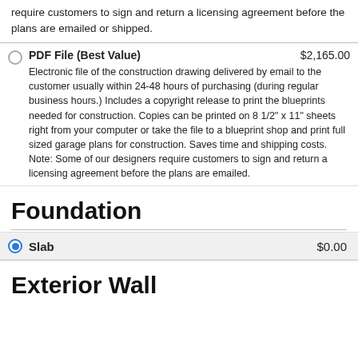require customers to sign and return a licensing agreement before the plans are emailed or shipped.
PDF File (Best Value) $2,165.00 — Electronic file of the construction drawing delivered by email to the customer usually within 24-48 hours of purchasing (during regular business hours.) Includes a copyright release to print the blueprints needed for construction. Copies can be printed on 8 1/2" x 11" sheets right from your computer or take the file to a blueprint shop and print full sized garage plans for construction. Saves time and shipping costs. Note: Some of our designers require customers to sign and return a licensing agreement before the plans are emailed.
Foundation
Slab $0.00
Exterior Wall